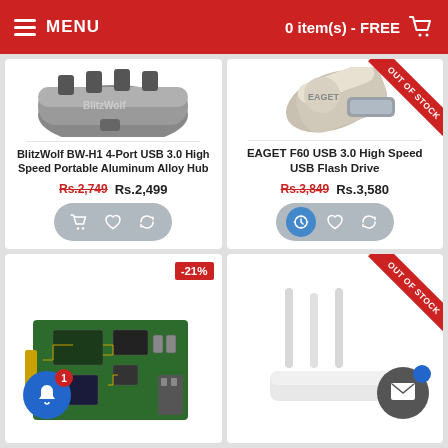MENU   0 item(s) - FREE
[Figure (photo): BlitzWolf BW-H1 4-Port USB 3.0 High Speed Portable Aluminum Alloy Hub product photo]
BlitzWolf BW-H1 4-Port USB 3.0 High Speed Portable Aluminum Alloy Hub
Rs.2,749  Rs.2,499
[Figure (photo): EAGET F60 USB 3.0 High Speed USB Flash Drive product photo with OUT OF STOCK ribbon]
EAGET F60 USB 3.0 High Speed USB Flash Drive
Rs.3,849  Rs.3,580
[Figure (photo): Product card bottom left with -21% discount badge and circuit board image]
[Figure (photo): Product card bottom right with OUT OF STOCK ribbon and router/antenna image]